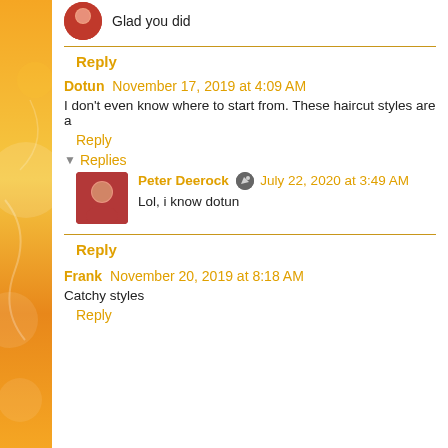Glad you did
Reply
Dotun  November 17, 2019 at 4:09 AM
I don't even know where to start from. These haircut styles are a
Reply
Replies
Peter Deerock  July 22, 2020 at 3:49 AM
Lol, i know dotun
Reply
Frank  November 20, 2019 at 8:18 AM
Catchy styles
Reply